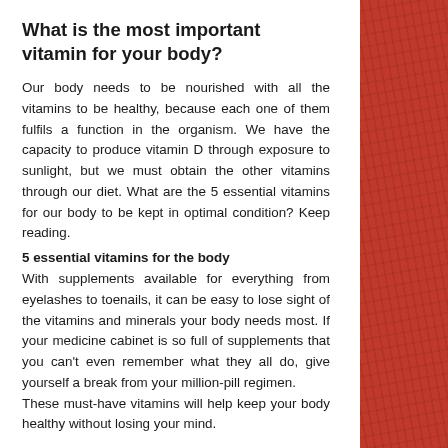What is the most important vitamin for your body?
Our body needs to be nourished with all the vitamins to be healthy, because each one of them fulfils a function in the organism. We have the capacity to produce vitamin D through exposure to sunlight, but we must obtain the other vitamins through our diet. What are the 5 essential vitamins for our body to be kept in optimal condition? Keep reading.
5 essential vitamins for the body
With supplements available for everything from eyelashes to toenails, it can be easy to lose sight of the vitamins and minerals your body needs most. If your medicine cabinet is so full of supplements that you can't even remember what they all do, give yourself a break from your million-pill regimen.
These must-have vitamins will help keep your body healthy without losing your mind.